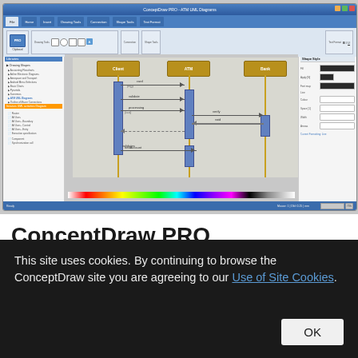[Figure (screenshot): Screenshot of ConceptDraw PRO diagramming software showing an ATM UML sequence diagram with actors (Client, ATM, Bank), lifelines, activation bars, and message arrows. The interface shows the typical Windows ribbon toolbar, a left panel with drawing shapes library, a central canvas with the sequence diagram, and a right panel with shape properties.]
ConceptDraw PRO diagramming and vector drawing software enhanced with ATM UML Diagrams Solution from the
This site uses cookies. By continuing to browse the ConceptDraw site you are agreeing to our Use of Site Cookies.